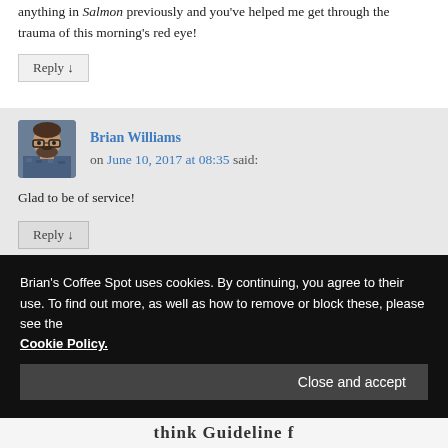anything in Salmon previously and you've helped me get through the trauma of this morning's red eye!
Reply ↓
Brian Williams on June 10, 2017 at 08:35 said:
Glad to be of service!
Reply ↓
Brian's Coffee Spot uses cookies. By continuing, you agree to their use. To find out more, as well as how to remove or block these, please see the Cookie Policy.
Close and accept
think Guideline f